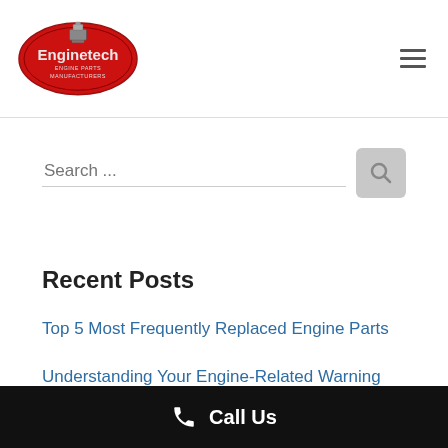[Figure (logo): Enginetech engine parts manufacturer logo — red oval with silver text and piston icon]
Search ...
Recent Posts
Top 5 Most Frequently Replaced Engine Parts
Understanding Your Engine-Related Warning Lights
Are You Road Trip Ready This Summer?
Call Us